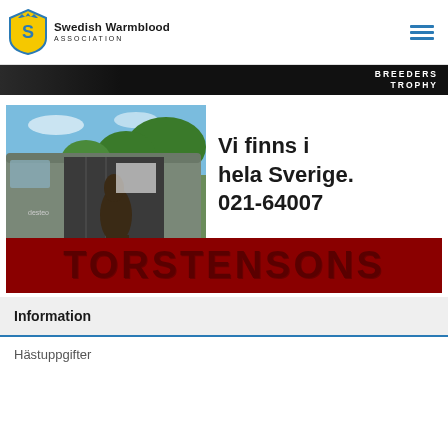Swedish Warmblood Association
[Figure (screenshot): Dark banner with 'BREEDERS TROPHY' text on right side]
[Figure (photo): Horse transport van with a foal visible inside, parked on grass with trees in background. Torstensons brand overlay at bottom.]
Vi finns i hela Sverige. 021-64007
Information
Hästuppgifter